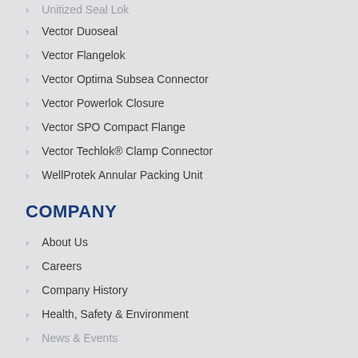Unitized Seal Lok
Vector Duoseal
Vector Flangelok
Vector Optima Subsea Connector
Vector Powerlok Closure
Vector SPO Compact Flange
Vector Techlok® Clamp Connector
WellProtek Annular Packing Unit
COMPANY
About Us
Careers
Company History
Health, Safety & Environment
News & Events